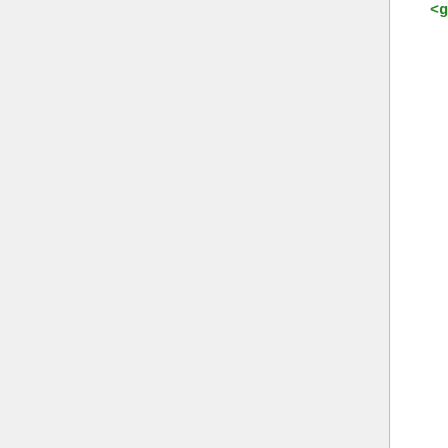<gazebo_propiedades_link nombre="pinza_fija_link" material="brazo_fer/White" />
<gazebo_propiedades_link nombre="pinza_fija_dedo_link" material="brazo_fer/WhiteTransp" />
<gazebo_propiedades_joint nombre="base" />
<gazebo_propiedades_joint nombre="arti1" />
<gazebo_propiedades_joint nombre="arti2" />
<gazebo_propiedades_joint nombre="arti3" />
<gazebo_propiedades_joint nombre="pinza" />